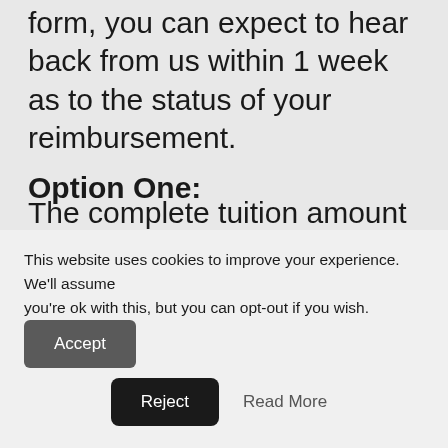form, you can expect to hear back from us within 1 week as to the status of your reimbursement.
Option One:
The complete tuition amount will be issued back to you as a credit to your Ohotto.com account with an additional bonus $1000 Ohotto.com credit. This means that, not only will you receive a complete tuition credit, you will also receive an additional
This website uses cookies to improve your experience. We'll assume you're ok with this, but you can opt-out if you wish.